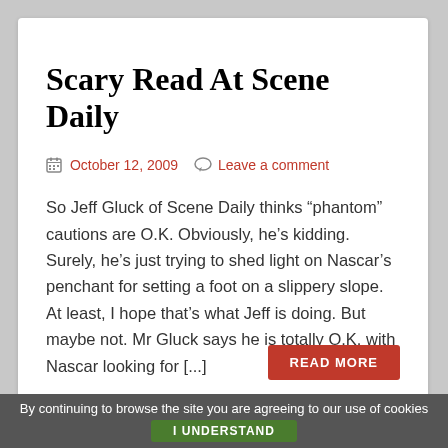Scary Read At Scene Daily
October 12, 2009   Leave a comment
So Jeff Gluck of Scene Daily thinks “phantom” cautions are O.K. Obviously, he’s kidding. Surely, he’s just trying to shed light on Nascar’s penchant for setting a foot on a slippery slope. At least, I hope that’s what Jeff is doing. But maybe not. Mr Gluck says he is totally O.K. with Nascar looking for [...]
READ MORE
By continuing to browse the site you are agreeing to our use of cookies
I UNDERSTAND